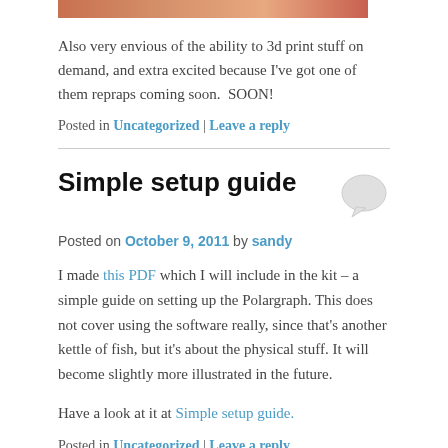[Figure (photo): Partial image strip at top of page, showing a cropped photo with warm brown/orange tones]
Also very envious of the ability to 3d print stuff on demand, and extra excited because I've got one of them repraps coming soon.  SOON!
Posted in Uncategorized | Leave a reply
Simple setup guide
Posted on October 9, 2011 by sandy
I made this PDF which I will include in the kit – a simple guide on setting up the Polargraph. This does not cover using the software really, since that's another kettle of fish, but it's about the physical stuff. It will become slightly more illustrated in the future.
Have a look at it at Simple setup guide.
Posted in Uncategorized | Leave a reply